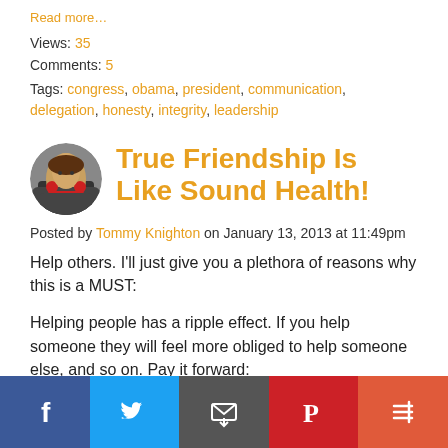Read more…
Views: 35
Comments: 5
Tags: congress, obama, president, communication, delegation, honesty, integrity, leadership
True Friendship Is Like Sound Health!
Posted by Tommy Knighton on January 13, 2013 at 11:49pm
Help others. I'll just give you a plethora of reasons why this is a MUST:
Helping people has a ripple effect. If you help someone they will feel more obliged to help someone else, and so on. Pay it forward:
You grow by giving and helping others. It can